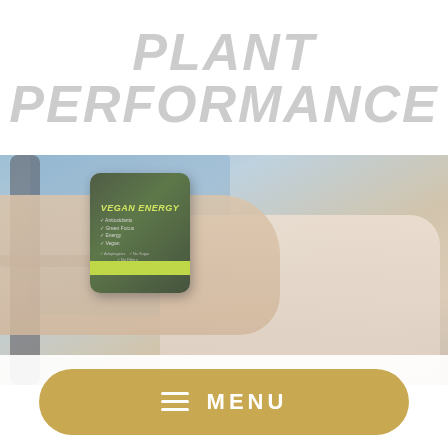PLANT PERFORMANCE
[Figure (photo): Woman in a gym holding up a green 'Vegan Energy' supplement can, smiling. Gym equipment visible in background. Image has a light, faded overlay.]
MENU